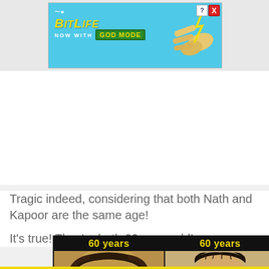[Figure (screenshot): BitLife mobile game advertisement banner. Blue background with BitLife logo in yellow italic text, sperm icon, 'NOW WITH GOD MODE' text with green badge, cartoon hand pointing, close/help buttons top right.]
Tragic indeed, considering that both Nath and Kapoor are the same age!
It's true! They're both 60 years old!
[Figure (photo): Side-by-side comparison of two people at 60 years old. Left panel labeled '60 years' shows a bald man seen from above/behind. Right panel labeled '60 years' shows a man with full dark hair.]